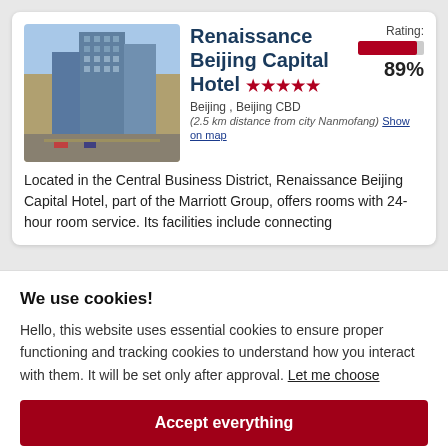[Figure (photo): Exterior photo of Renaissance Beijing Capital Hotel — a tall modern glass skyscraper against a blue sky with city streets below]
Renaissance Beijing Capital Hotel ★★★★★
Rating: 89%
Beijing , Beijing CBD
(2.5 km distance from city Nanmofang) Show on map
Located in the Central Business District, Renaissance Beijing Capital Hotel, part of the Marriott Group, offers rooms with 24-hour room service. Its facilities include connecting
We use cookies!
Hello, this website uses essential cookies to ensure proper functioning and tracking cookies to understand how you interact with them. It will be set only after approval. Let me choose
Accept everything
Reject everything
FILTERS
Set in Beijing, 7 km from Yonghe­gong Temple and 7 km from Qianmen